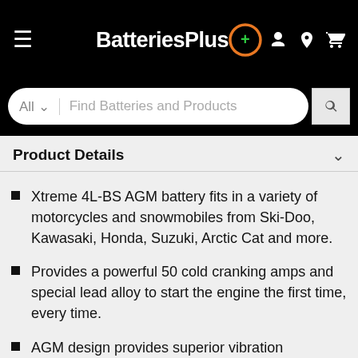BatteriesPlus
Product Details
Xtreme 4L-BS AGM battery fits in a variety of motorcycles and snowmobiles from Ski-Doo, Kawasaki, Honda, Suzuki, Arctic Cat and more.
Provides a powerful 50 cold cranking amps and special lead alloy to start the engine the first time, every time.
AGM design provides superior vibration resistance and temperature tolerance for the...